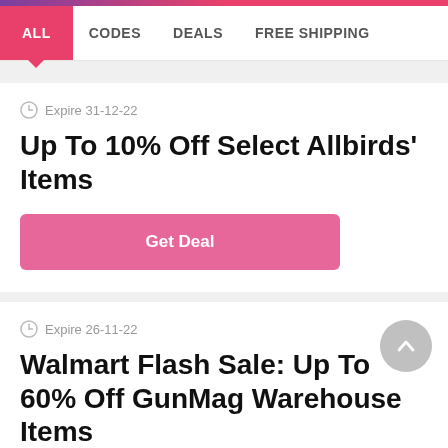ALL | CODES | DEALS | FREE SHIPPING
Expire 31-12-22
Up To 10% Off Select Allbirds' Items
Get Deal
Expire 26-11-22
Walmart Flash Sale: Up To 60% Off GunMag Warehouse Items